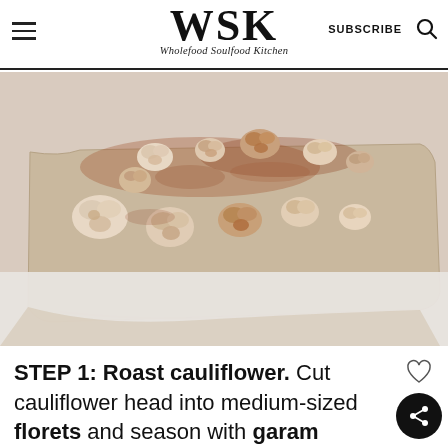WSK — Wholefood Soulfood Kitchen — SUBSCRIBE
[Figure (photo): Roasted cauliflower florets scattered on parchment paper on a baking tray, seasoned with reddish-brown spice]
STEP 1: Roast cauliflower. Cut cauliflower head into medium-sized florets and season with garam masala,